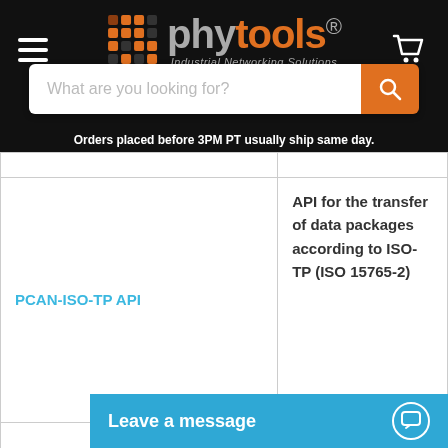phytools - Industrial Networking Solutions
What are you looking for?
Orders placed before 3PM PT usually ship same day.
| Product | Description |
| --- | --- |
| PCAN-ISO-TP API | API for the transfer of data packages according to ISO-TP (ISO 15765-2) |
| PCAN-ISO-TP API documentation |  |
Leave a message